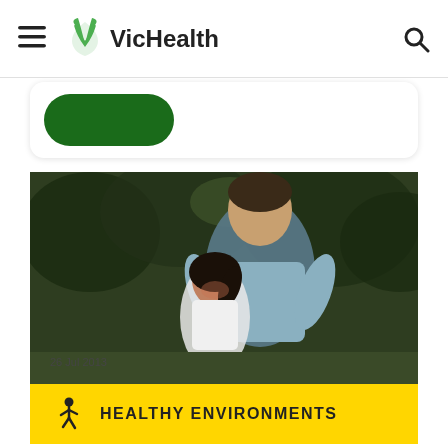VicHealth
[Figure (photo): A man and a young girl running outdoors in parkland, smiling]
HEALTHY ENVIRONMENTS
26 Jul 2013
Does parkland influence walking?